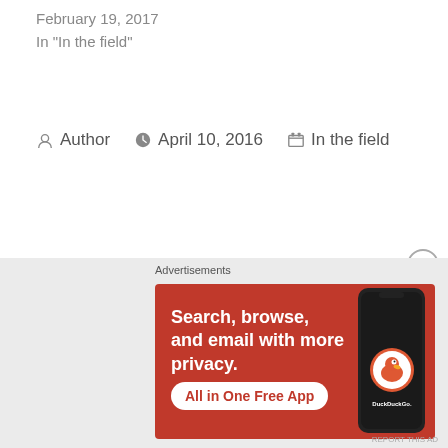February 19, 2017
In "In the field"
Author  April 10, 2016  In the field
Previous Post
Welcome...
Advertisements
[Figure (screenshot): DuckDuckGo advertisement banner: 'Search, browse, and email with more privacy. All in One Free App' with a phone image and DuckDuckGo logo on orange/red background.]